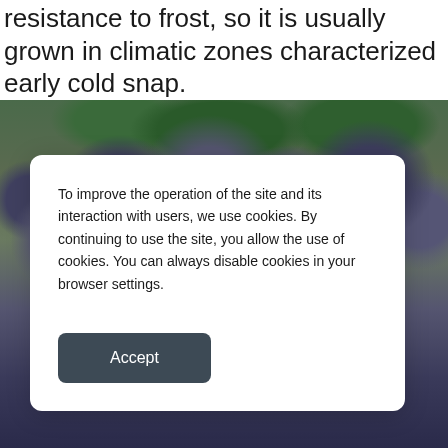resistance to frost, so it is usually grown in climatic zones characterized early cold snap.
[Figure (photo): Close-up photograph of dark blue-purple grapes on a vine with green leaves in the background.]
To improve the operation of the site and its interaction with users, we use cookies. By continuing to use the site, you allow the use of cookies. You can always disable cookies in your browser settings.